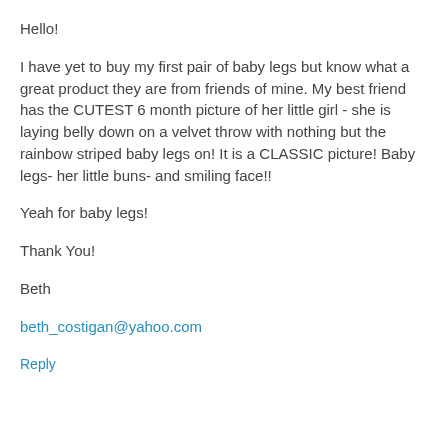Hello!
I have yet to buy my first pair of baby legs but know what a great product they are from friends of mine. My best friend has the CUTEST 6 month picture of her little girl - she is laying belly down on a velvet throw with nothing but the rainbow striped baby legs on! It is a CLASSIC picture! Baby legs- her little buns- and smiling face!!
Yeah for baby legs!
Thank You!
Beth
beth_costigan@yahoo.com
Reply